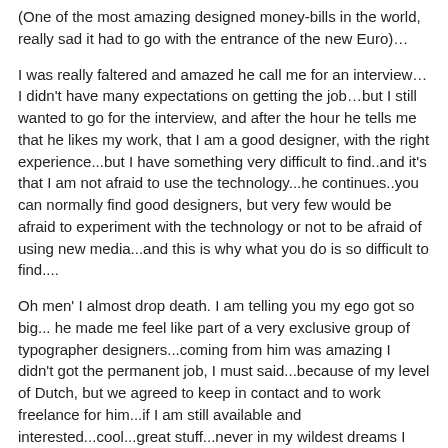(One of the most amazing designed money-bills in the world, really sad it had to go with the entrance of the new Euro)…
I was really faltered and amazed he call me for an interview…I didn't have many expectations on getting the job…but I still wanted to go for the interview, and after the hour he tells me that he likes my work, that I am a good designer, with the right experience...but I have something very difficult to find..and it's that I am not afraid to use the technology...he continues..you can normally find good designers, but very few would be afraid to experiment with the technology or not to be afraid of using new media...and this is why what you do is so difficult to find....
Oh men' I almost drop death. I am telling you my ego got so big... he made me feel like part of a very exclusive group of typographer designers...coming from him was amazing I didn't got the permanent job, I must said...because of my level of Dutch, but we agreed to keep in contact and to work freelance for him...if I am still available and interested...cool...great stuff...never in my wildest dreams I thought to have such an experience...my confidence got so